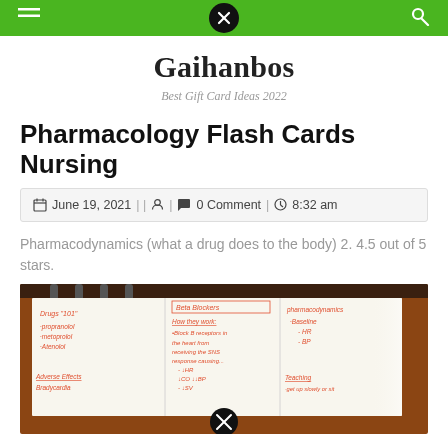Gaihanbos — navigation bar with close/menu icons
Gaihanbos
Best Gift Card Ideas 2022
Pharmacology Flash Cards Nursing
June 19, 2021  |  |     |    0 Comment  |    8:32 am
Pharmacodynamics (what a drug does to the body) 2. 4.5 out of 5 stars.
[Figure (photo): Handwritten pharmacology flash card showing Beta Blockers notes including drugs (propranolol, metoprolol, Atenolol), how they work (Block B receptors in the heart from receiving the SNS response causing decreased HR, decreased CO, decreased SW, decreased BP), pharmacodynamics with Baseline HR and BP, Adverse Effects (Bradycardia), and Teaching (get up slowly or sit)]